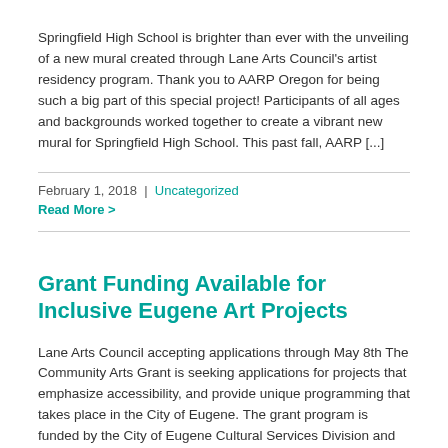Springfield High School is brighter than ever with the unveiling of a new mural created through Lane Arts Council's artist residency program. Thank you to AARP Oregon for being such a big part of this special project! Participants of all ages and backgrounds worked together to create a vibrant new mural for Springfield High School. This past fall, AARP [...]
February 1, 2018  |  Uncategorized
Read More >
Grant Funding Available for Inclusive Eugene Art Projects
Lane Arts Council accepting applications through May 8th The Community Arts Grant is seeking applications for projects that emphasize accessibility, and provide unique programming that takes place in the City of Eugene. The grant program is funded by the City of Eugene Cultural Services Division and administered by Lane Arts Council. The Community Arts Grant recognizes the expanding role that [...]